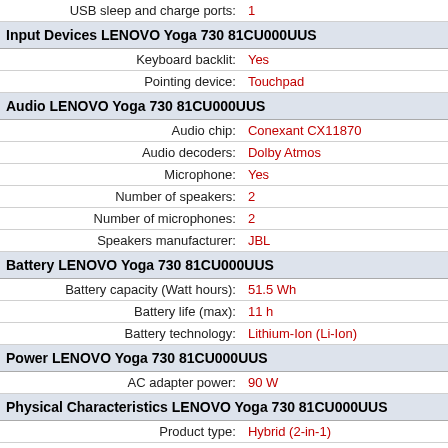| USB sleep and charge ports: | 1 |
| Input Devices LENOVO Yoga 730 81CU000UUS |  |
| Keyboard backlit: | Yes |
| Pointing device: | Touchpad |
| Audio LENOVO Yoga 730 81CU000UUS |  |
| Audio chip: | Conexant CX11870 |
| Audio decoders: | Dolby Atmos |
| Microphone: | Yes |
| Number of speakers: | 2 |
| Number of microphones: | 2 |
| Speakers manufacturer: | JBL |
| Battery LENOVO Yoga 730 81CU000UUS |  |
| Battery capacity (Watt hours): | 51.5 Wh |
| Battery life (max): | 11 h |
| Battery technology: | Lithium-Ion (Li-Ion) |
| Power LENOVO Yoga 730 81CU000UUS |  |
| AC adapter power: | 90 W |
| Physical Characteristics LENOVO Yoga 730 81CU000UUS |  |
| Product type: | Hybrid (2-in-1) |
| Form factor: | Convertible (Folder) |
| Product colour: | Platinum,Silver |
| Housing material: | Aluminium |